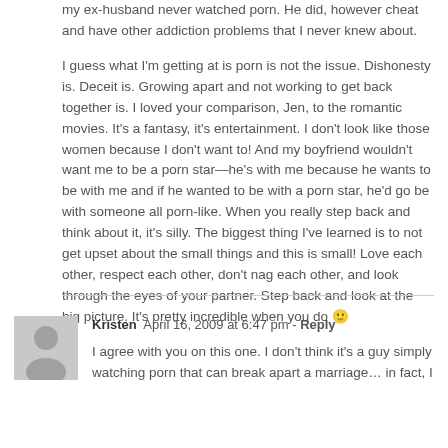my ex-husband never watched porn. He did, however cheat and have other addiction problems that I never knew about.
I guess what I'm getting at is porn is not the issue. Dishonesty is. Deceit is. Growing apart and not working to get back together is. I loved your comparison, Jen, to the romantic movies. It's a fantasy, it's entertainment. I don't look like those women because I don't want to! And my boyfriend wouldn't want me to be a porn star—he's with me because he wants to be with me and if he wanted to be with a porn star, he'd go be with someone all porn-like. When you really step back and think about it, it's silly. The biggest thing I've learned is to not get upset about the small things and this is small! Love each other, respect each other, don't nag each other, and look through the eyes of your partner. Step back and look at the big picture. It's pretty incredible when you do 🙂
Kristen  April 16, 2009 at 6:47 pm - Reply
I agree with you on this one. I don't think it's a guy simply watching porn that can break apart a marriage…in fact, I